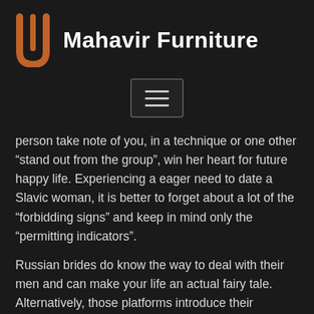Mahavir Furniture
[Figure (other): Hamburger menu button icon]
person take note of you, in a technique or one other “stand out from the group”, win her heart for future happy life. Experiencing a eager need to date a Slavic woman, it is better to forget about a lot of the “forbidding signs” and keep in mind only the “permitting indicators”.
Russian brides do know the way to deal with their men and can make your life an actual fairy tale. Alternatively, those platforms introduce their prospects with a list of Russian women. The choice of ladies from Russia, as well as their efforts to determine a bond, is dependent upon their me... Ukraine women on the lookout for marriage, whose profile